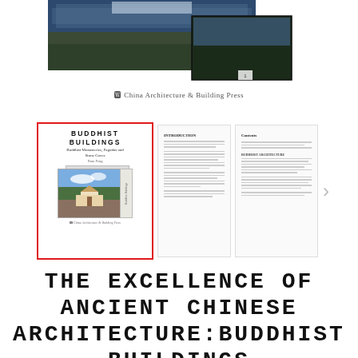[Figure (photo): Top photograph showing ancient Chinese architecture, temple or monastery complex on rocky/forested terrain, partially cropped. Two photo panels overlapping each other.]
China Architecture & Building Press
[Figure (photo): Book carousel showing three views: (1) Front cover of 'Buddhist Buildings' book with red border showing cover photo of a monastery in mountainous landscape; (2) Interior text page with paragraphs; (3) Table of contents page. A right navigation arrow is visible.]
THE EXCELLENCE OF ANCIENT CHINESE ARCHITECTURE:BUDDHIST BUILDINGS